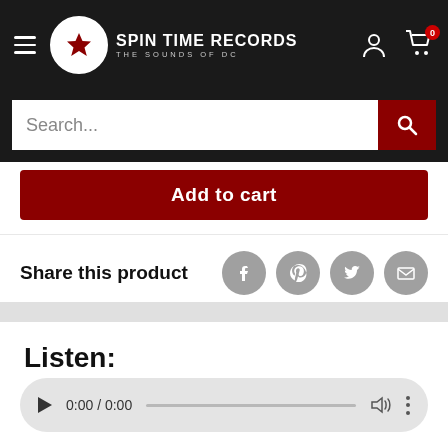Spin Time Records — The Sounds of DC
Search...
Add to cart
Share this product
Listen:
[Figure (screenshot): Audio player widget showing 0:00 / 0:00 with play button, progress bar, volume icon, and more options button]